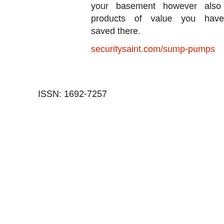your basement however also to products of value you have saved there.
securitysaint.com/sump-pumps
ISSN: 1692-7257